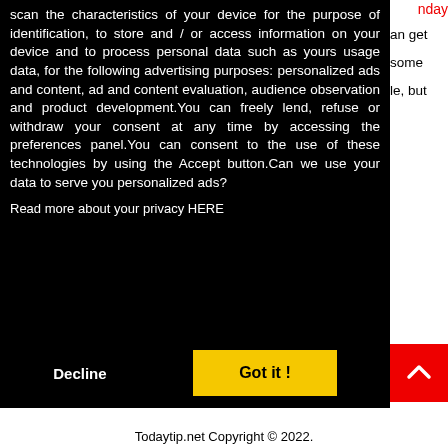scan the characteristics of your device for the purpose of identification, to store and / or access information on your device and to process personal data such as yours usage data, for the following advertising purposes: personalized ads and content, ad and content evaluation, audience observation and product development.You can freely lend, refuse or withdraw your consent at any time by accessing the preferences panel.You can consent to the use of these technologies by using the Accept button.Can we use your data to serve you personalized ads?
Read more about your privacy HERE
Decline
Got it !
nday
an get some le, but
Todaytip.net Copyright © 2022.